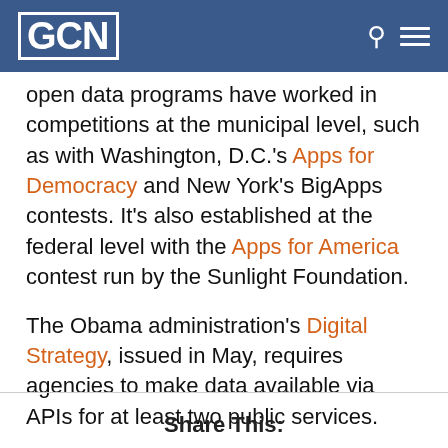GCN
open data programs have worked in competitions at the municipal level, such as with Washington, D.C.'s Apps for Democracy and New York's BigApps contests. It's also established at the federal level with the Apps for America contest run by the Sunlight Foundation.
The Obama administration's Digital Strategy, issued in May, requires agencies to make data available via APIs for at least two public services.
Share This: